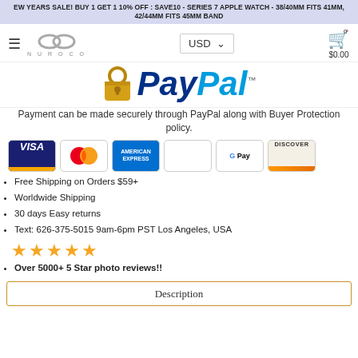EW YEARS SALE! BUY 1 GET 1 10% OFF : SAVE10 - SERIES 7 APPLE WATCH - 38/40MM FITS 41MM, 42/44MM FITS 45MM BAND
[Figure (logo): Nuroco infinity logo with hamburger menu, USD currency selector, and shopping cart showing $0.00]
[Figure (logo): PayPal logo with padlock icon and trademark symbol]
Payment can be made securely through PayPal along with Buyer Protection policy.
[Figure (infographic): Payment method icons: Visa, Mastercard, American Express, Apple Pay, Google Pay, Discover]
Free Shipping on Orders $59+
Worldwide Shipping
30 days Easy returns
Text: 626-375-5015 9am-6pm PST Los Angeles, USA
[Figure (infographic): Five gold stars rating]
Over 5000+ 5 Star photo reviews!!
Description